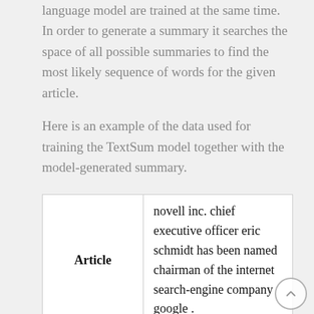language model are trained at the same time. In order to generate a summary it searches the space of all possible summaries to find the most likely sequence of words for the given article.
Here is an example of the data used for training the TextSum model together with the model-generated summary.
| Article |  |
| --- | --- |
| Article | novell inc. chief executive officer eric schmidt has been named chairman of the internet search-engine company google . |